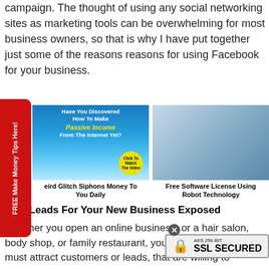campaign. The thought of using any social networking sites as marketing tools can be overwhelming for most business owners, so that is why I have put together just some of the reasons reasons for using Facebook for your business.
[Figure (advertisement): Ad banner: Have You Discovered How To Make Passive Income From The Internet Yet? with beach background and Click To Watch The Video button]
eird Glitch Siphons Money To You Daily
[Figure (photo): Man in Superman tank top lifting weights in gym]
Free Software License Using Robot Technology
Free Leads For Your New Business Exposed
Whether you open an online business, or a hair salon, body shop, or family restaurant, your first... same. You must attract customers or leads, that are willing to
[Figure (infographic): SSL Secured badge with lock icon and AES 256-BIT text]